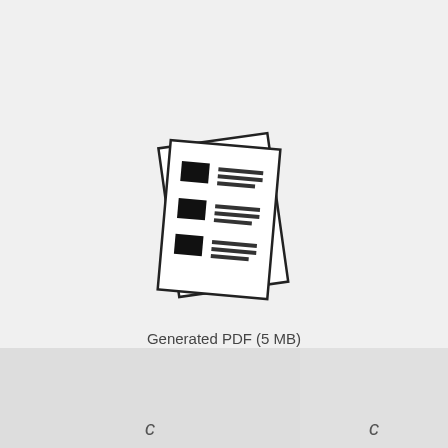[Figure (illustration): Icon of two overlapping document pages rotated slightly, with black rectangles representing images and horizontal lines representing text on the pages.]
Generated PDF (5 MB)
Elements / Types
[Figure (other): Bottom-left gray panel with a small italic 'C' character at the bottom center.]
[Figure (other): Bottom-right gray panel with a small italic 'C' character at the bottom center.]